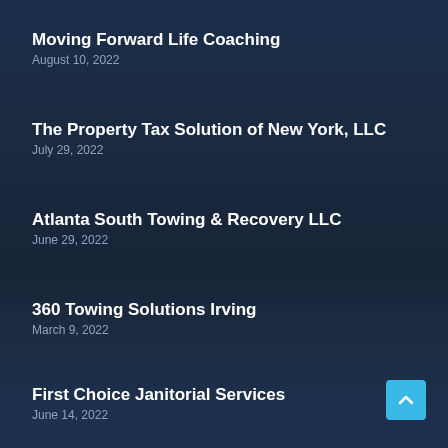Moving Forward Life Coaching
August 10, 2022
The Property Tax Solution of New York, LLC
July 29, 2022
Atlanta South Towing & Recovery LLC
June 29, 2022
360 Towing Solutions Irving
March 9, 2022
First Choice Janitorial Services
June 14, 2022